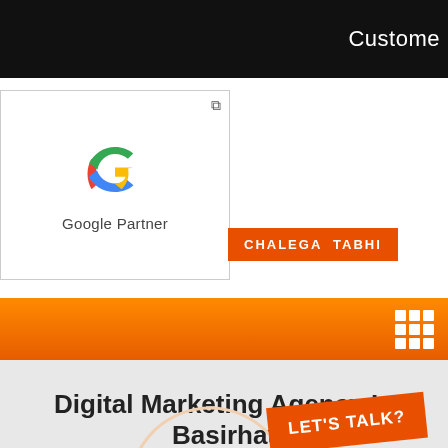Custome
[Figure (logo): Google Partner badge with Google G logo and text 'Google Partner']
CHALEGA TABHI
[Figure (infographic): Orange navigation bar with white grid/menu icon]
Digital Marketing Agency In Basirhat
Home » Category » Digital Marketing Agency in Basirhat
LET'S TALK?